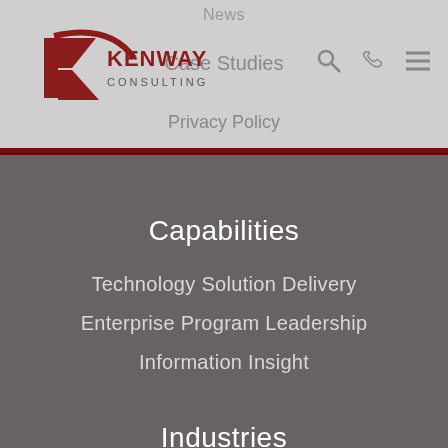News | Case Studies | Privacy Policy
[Figure (logo): Kenway Consulting logo — red K with arc and company name]
Capabilities
Technology Solution Delivery
Enterprise Program Leadership
Information Insight
Industries
B2B Distribution
Financial Services
Healthcare
Telecommunications